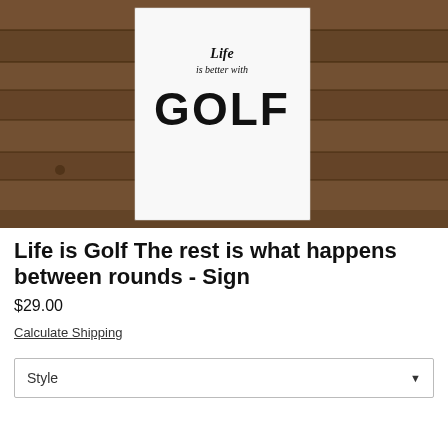[Figure (photo): Photo of a white sign reading 'Life is better with GOLF' placed against a rustic wooden plank background]
Life is Golf The rest is what happens between rounds - Sign
$29.00
Calculate Shipping
Style